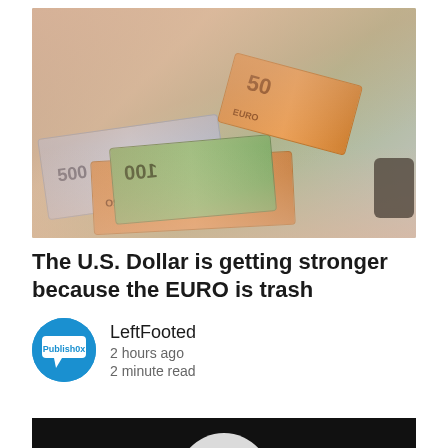[Figure (photo): Two hands holding and fanning out a mix of Euro banknotes (500 EURO, 200 EURO, 100 EURO, 50 EURO) and US dollar bills. The person is wearing a watch on their right wrist. The background is a light gray surface.]
The U.S. Dollar is getting stronger because the EURO is trash
[Figure (logo): Blue circular avatar with Publish0x logo/label inside a white speech bubble style box]
LeftFooted
2 hours ago
2 minute read
[Figure (photo): Bottom portion of a second article image visible at the very bottom of the page, dark/black background with partial white figure]